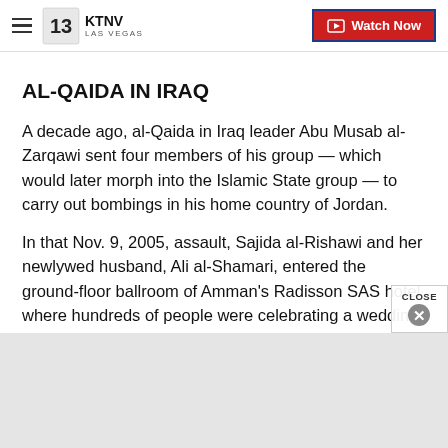KTNV LAS VEGAS — Watch Now
AL-QAIDA IN IRAQ
A decade ago, al-Qaida in Iraq leader Abu Musab al-Zarqawi sent four members of his group — which would later morph into the Islamic State group — to carry out bombings in his home country of Jordan.
In that Nov. 9, 2005, assault, Sajida al-Rishawi and her newlywed husband, Ali al-Shamari, entered the ground-floor ballroom of Amman's Radisson SAS hotel where hundreds of people were celebrating a wedding. Al-Shamari set off his explosive belt in t